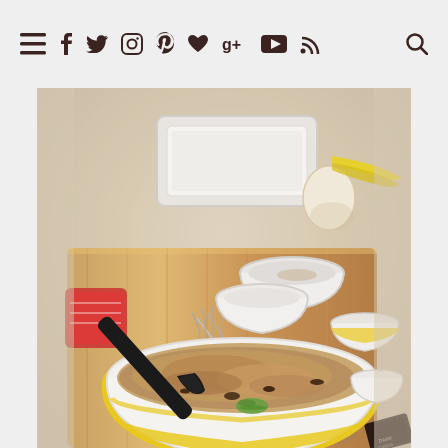Navigation bar with social media and menu icons: hamburger menu, Facebook, Twitter/X, Instagram, Pinterest, heart/Bloglovin, Google+, YouTube, RSS, Search
[Figure (photo): Overhead shot of a baking scene on a wooden cutting board: a large white and yellow striped bowl filled with banana bread batter being stirred with a black spatula, surrounded by a wire whisk, small white ceramic prep bowls, a white rectangular baking pan, an egg, bananas, a red patterned container, a small white cup, and a dark chocolate bar packaging in the corner.]